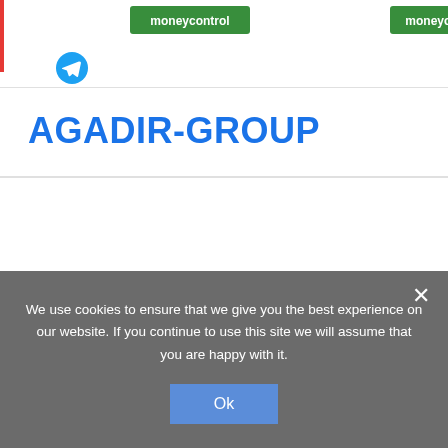moneycontrol | moneycontrolPRO
AGADIR-GROUP
We use cookies to ensure that we give you the best experience on our website. If you continue to use this site we will assume that you are happy with it.